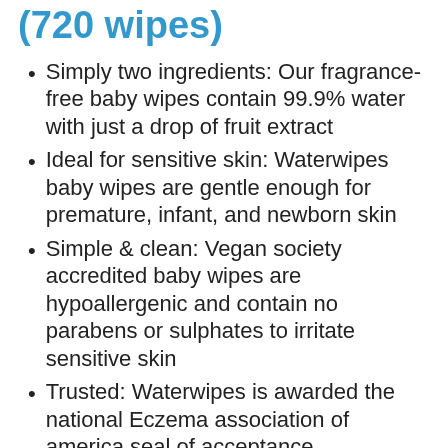(720 wipes)
Simply two ingredients: Our fragrance-free baby wipes contain 99.9% water with just a drop of fruit extract
Ideal for sensitive skin: Waterwipes baby wipes are gentle enough for premature, infant, and newborn skin
Simple & clean: Vegan society accredited baby wipes are hypoallergenic and contain no parabens or sulphates to irritate sensitive skin
Trusted: Waterwipes is awarded the national Eczema association of america seal of acceptance
Perfect for: Diaper changing, during weaning and teething, for cleaning